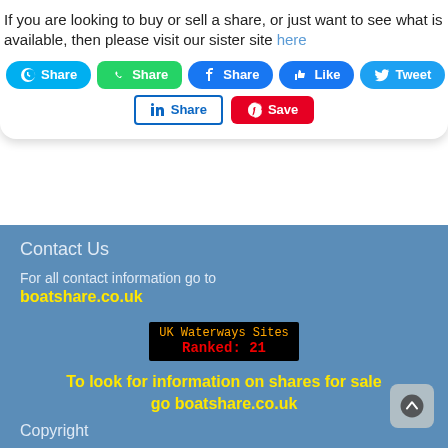If you are looking to buy or sell a share, or just want to see what is available, then please visit our sister site here
[Figure (screenshot): Row of social sharing buttons: Skype Share, WhatsApp Share, Facebook Share, Facebook Like, Twitter Tweet]
[Figure (screenshot): Second row of social sharing buttons: LinkedIn Share, Pinterest Save]
Contact Us
For all contact information go to boatshare.co.uk
[Figure (infographic): UK Waterways Sites Ranked: 21 badge on black background with orange and red text]
To look for information on shares for sale go boatshare.co.uk
Copyright